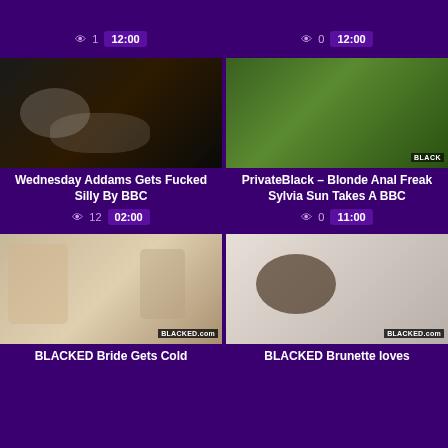[Figure (screenshot): Top partial card left: view count 1, duration 12:00]
[Figure (screenshot): Top partial card right: view count 0, duration 12:00]
[Figure (photo): Dark bedroom scene thumbnail]
Wednesday Addams Gets Fucked Silly By BBC
12 views, 02:00
[Figure (photo): Outdoor scene thumbnail with BLACK watermark]
PrivateBlack – Blonde Anal Freak Sylvia Sun Takes A BBC
0 views, 11:00
[Figure (photo): Bathroom scene with BLACKED watermark]
BLACKED Bride Gets Cold
[Figure (photo): Bedroom scene with BLACKED watermark]
BLACKED Brunette loves